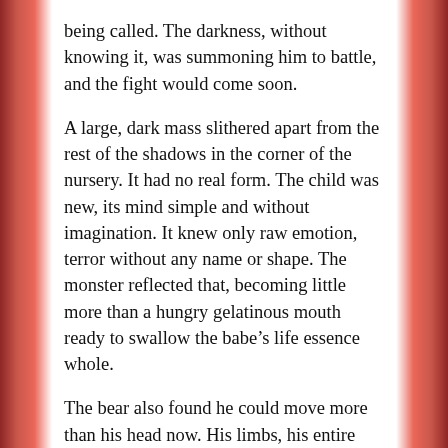being called. The darkness, without knowing it, was summoning him to battle, and the fight would come soon.
A large, dark mass slithered apart from the rest of the shadows in the corner of the nursery. It had no real form. The child was new, its mind simple and without imagination. It knew only raw emotion, terror without any name or shape. The monster reflected that, becoming little more than a hungry gelatinous mouth ready to swallow the babe’s life essence whole.
The bear also found he could move more than his head now. His limbs, his entire small body was his to command. More than that, he felt heavier, more solid. It was as if the fluff inside him was hardening in that moment, like muscles tensing to perform difficult labor.